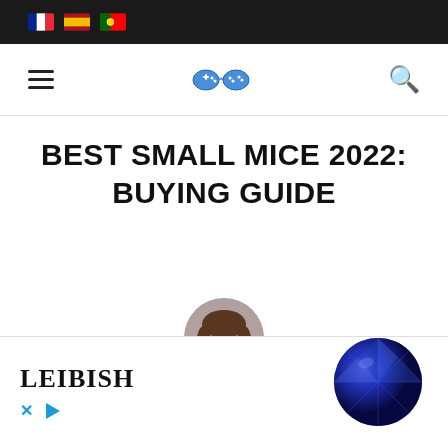Flag icons: French, Spanish, Portuguese
[Figure (logo): Game controller icon logo in blue]
BEST SMALL MICE 2022: BUYING GUIDE
[Figure (illustration): Circular avatar illustration of a cartoon girl with brown hair, wearing purple top]
Who I am
[Figure (infographic): Dropdown chevron arrow box on left side]
[Figure (photo): LEIBISH advertisement banner with blue sapphire gemstone photo]